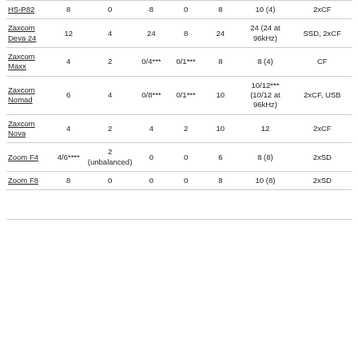| Device | Col1 | Col2 | Col3 | Col4 | Col5 | Col6 | Col7 |
| --- | --- | --- | --- | --- | --- | --- | --- |
| HS-P82 | 8 | 0 | 8 | 0 | 8 | 10 (4) | 2xCF |
| Zaxcom Deva 24 | 12 | 4 | 24 | 8 | 24 | 24 (24 at 96kHz) | SSD, 2xCF |
| Zaxcom Maxx | 4 | 2 | 0/4*** | 0/1*** | 8 | 8 (4) | CF |
| Zaxcom Nomad | 6 | 4 | 0/8*** | 0/1*** | 10 | 10/12*** (10/12 at 96kHz) | 2xCF, USB |
| Zaxcom Nova | 4 | 2 | 4 | 2 | 10 | 12 | 2xCF |
| Zoom F4 | 4/6**** | 2 (unbalanced) | 0 | 0 | 6 | 8 (8) | 2xSD |
| Zoom F8 | 8 | 0 | 0 | 0 | 8 | 10 (8) | 2xSD |